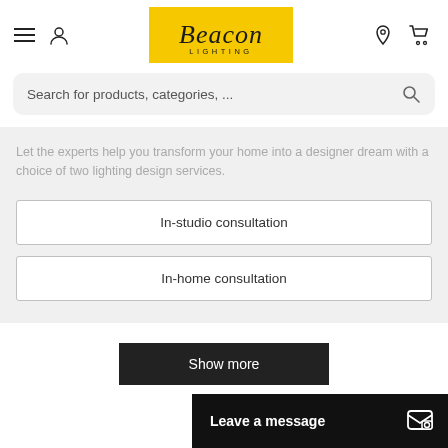[Figure (logo): Beacon Lighting logo — script text on yellow background]
Search for products, categories, ...
Let the experts help you transform your home into a designer dream with a choice of two lighting design services.
In-studio consultation
In-home consultation
Show more
Leave a message